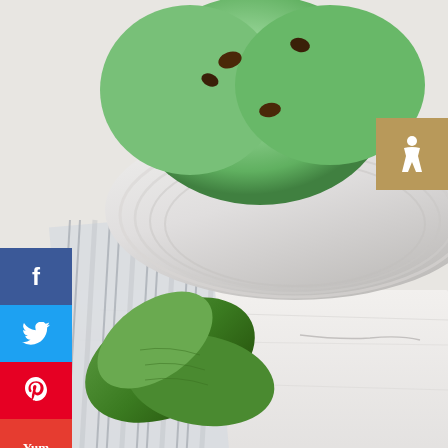[Figure (photo): Photo of mint chocolate chip ice cream in a white bowl, with fresh mint leaves, a piece of mint chocolate, and a striped cloth on a white wooden surface. Social media share buttons on the left sidebar (Facebook, Twitter, Pinterest, Yummly, Flipboard, Email). Accessibility icon top right. Heart and share floating buttons.]
There is nothing better than fresh homemade ice cream, but often making
WHAT'S NEXT → No Bake Chocolate...
Visit Premium Outlets® Leesburg Premium Outlets